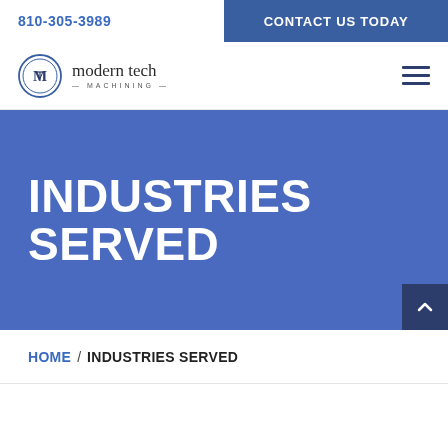810-305-3989 | CONTACT US TODAY
[Figure (logo): Modern Tech Machining logo with circular MTM emblem and company name]
INDUSTRIES SERVED
HOME / INDUSTRIES SERVED